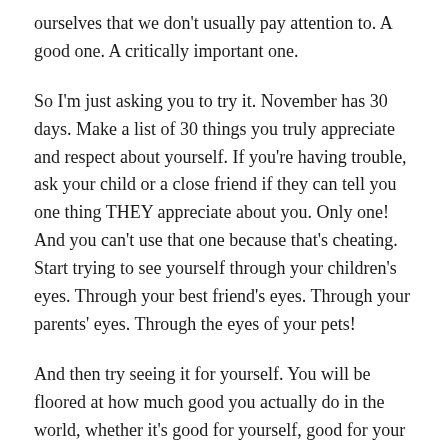ourselves that we don't usually pay attention to. A good one. A critically important one.
So I'm just asking you to try it. November has 30 days. Make a list of 30 things you truly appreciate and respect about yourself. If you're having trouble, ask your child or a close friend if they can tell you one thing THEY appreciate about you. Only one! And you can't use that one because that's cheating. Start trying to see yourself through your children's eyes. Through your best friend's eyes. Through your parents' eyes. Through the eyes of your pets!
And then try seeing it for yourself. You will be floored at how much good you actually do in the world, whether it's good for yourself, good for your children, good for your family and friends, or good for strangers. You will undoubtedly find something about yourself that you never even considered was amazing about you.